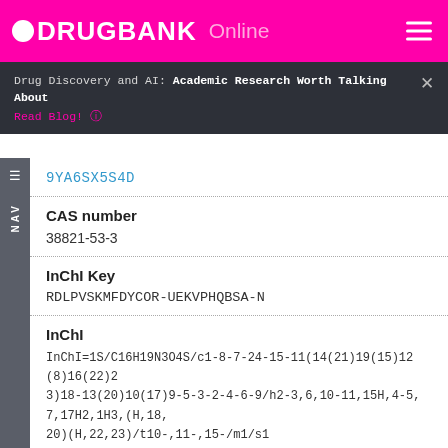DRUGBANK Online
Drug Discovery and AI: Academic Research Worth Talking About
Read Blog!
9YA6SX5S4D
CAS number
38821-53-3
InChI Key
RDLPVSKMFDYCOR-UEKVPHQBSA-N
InChI
InChI=1S/C16H19N3O4S/c1-8-7-24-15-11(14(21)19(15)12(8)16(22)23)18-13(20)10(17)9-5-3-2-4-6-9/h2-3,6,10-11,15H,4-5,7,17H2,1H3,(H,18,20)(H,22,23)/t10-,11-,15-/m1/s1